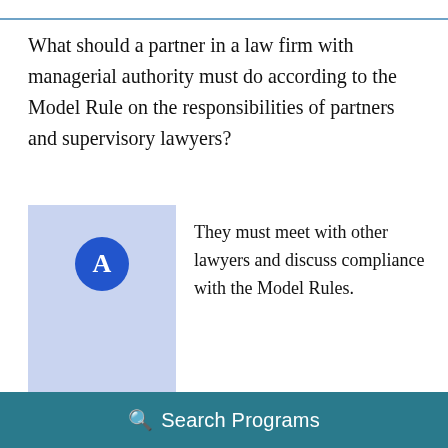What should a partner in a law firm with managerial authority must do according to the Model Rule on the responsibilities of partners and supervisory lawyers?
A — They must meet with other lawyers and discuss compliance with the Model Rules.
B — They must ensure that only associates comply with the Model Rules.
C — They must... (continues below)
Search Programs